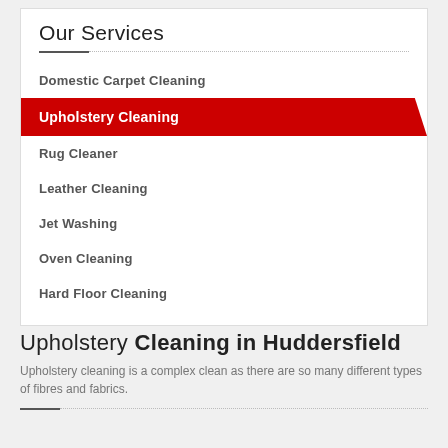Our Services
Domestic Carpet Cleaning
Upholstery Cleaning
Rug Cleaner
Leather Cleaning
Jet Washing
Oven Cleaning
Hard Floor Cleaning
Upholstery Cleaning in Huddersfield
Upholstery cleaning is a complex clean as there are so many different types of fibres and fabrics.